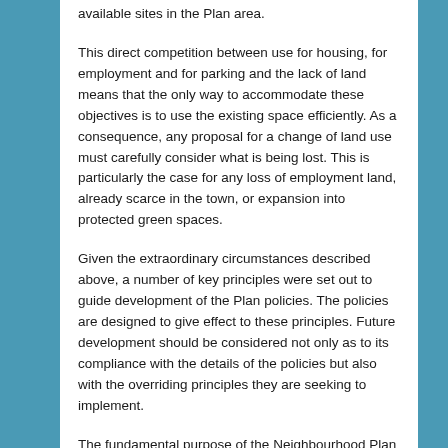available sites in the Plan area.
This direct competition between use for housing, for employment and for parking and the lack of land means that the only way to accommodate these objectives is to use the existing space efficiently. As a consequence, any proposal for a change of land use must carefully consider what is being lost. This is particularly the case for any loss of employment land, already scarce in the town, or expansion into protected green spaces.
Given the extraordinary circumstances described above, a number of key principles were set out to guide development of the Plan policies. The policies are designed to give effect to these principles. Future development should be considered not only as to its compliance with the details of the policies but also with the overriding principles they are seeking to implement.
The fundamental purpose of the Neighbourhood Plan is guide the use of land within the Plan area, whether planned or windfall development.